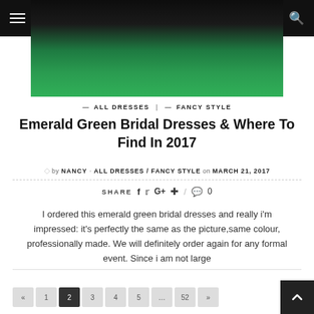[Figure (photo): Hero image of an emerald green bridal dress, shown from waist down, with dark/black background at top]
— ALL DRESSES | — FANCY STYLE
Emerald Green Bridal Dresses & Where To Find In 2017
by NANCY ◦ ALL DRESSES / FANCY STYLE on MARCH 21, 2017
SHARE  f  t  G+   pinterest  /  comment 0
I ordered this emerald green bridal dresses and really i'm impressed: it's perfectly the same as the picture,same colour, professionally made. We will definitely order again for any formal event. Since i am not large
« 1 2 3 4 5 … 52 »